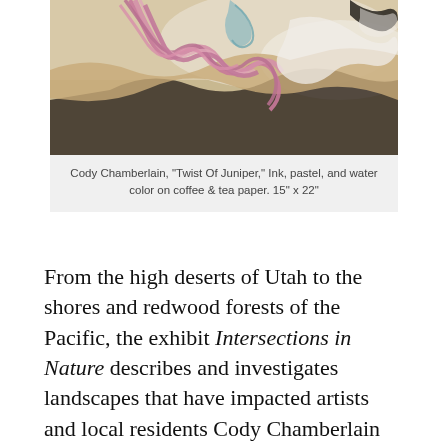[Figure (illustration): An artwork showing swirling abstract forms with pink/mauve hair-like strands over a sandy/beige background with dark and light flowing shapes]
Cody Chamberlain, "Twist Of Juniper," Ink, pastel, and water color on coffee & tea paper. 15" x 22"
From the high deserts of Utah to the shores and redwood forests of the Pacific, the exhibit Intersections in Nature describes and investigates landscapes that have impacted artists and local residents Cody Chamberlain and Len Starbeck. Both artists use their histories of mixed outdoor employment to inform their selection of materials, the subjects they depict, and the way they progress from concept to finished piece. Together, the paintings and sculptures provide a balanced show that provides art and wilderness lovers a